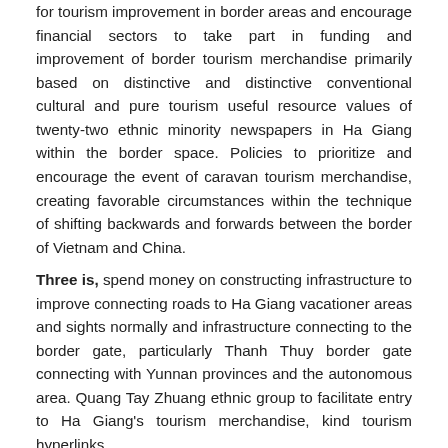for tourism improvement in border areas and encourage financial sectors to take part in funding and improvement of border tourism merchandise primarily based on distinctive and distinctive conventional cultural and pure tourism useful resource values of twenty-two ethnic minority newspapers in Ha Giang within the border space. Policies to prioritize and encourage the event of caravan tourism merchandise, creating favorable circumstances within the technique of shifting backwards and forwards between the border of Vietnam and China.
Three is, spend money on constructing infrastructure to improve connecting roads to Ha Giang vacationer areas and sights normally and infrastructure connecting to the border gate, particularly Thanh Thuy border gate connecting with Yunnan provinces and the autonomous area. Quang Tay Zhuang ethnic group to facilitate entry to Ha Giang's tourism merchandise, kind tourism hyperlinks